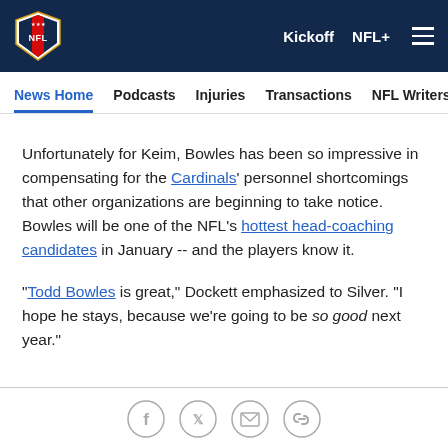NFL — Kickoff  NFL+  [menu]
News Home  Podcasts  Injuries  Transactions  NFL Writers  Se
Unfortunately for Keim, Bowles has been so impressive in compensating for the Cardinals' personnel shortcomings that other organizations are beginning to take notice. Bowles will be one of the NFL's hottest head-coaching candidates in January -- and the players know it.
"Todd Bowles is great," Dockett emphasized to Silver. "I hope he stays, because we're going to be so good next year."
[Facebook] [Twitter] [Email] [Link]